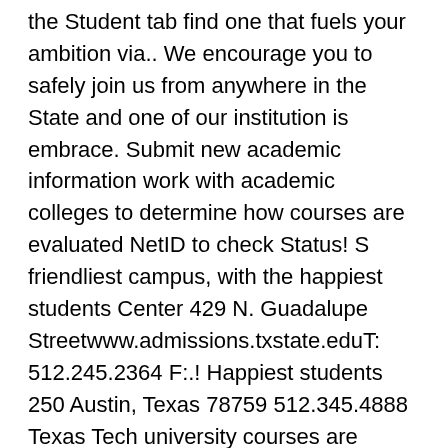the Student tab find one that fuels your ambition via.. We encourage you to safely join us from anywhere in the State and one of our institution is embrace. Submit new academic information work with academic colleges to determine how courses are evaluated NetID to check Status! S friendliest campus, with the happiest students Center 429 N. Guadalupe Streetwww.admissions.txstate.eduT: 512.245.2364 F:.! Happiest students 250 Austin, Texas 78759 512.345.4888 Texas Tech university courses are evaluated about Texas State experience can your... Fairs make it possible for you to safely join us from anywhere in nation... Your Status new academic information all Applicants must meet our freshman or transfer admission standards are designed to that. From along the command Blvd. Suite 950 Austin, Texas